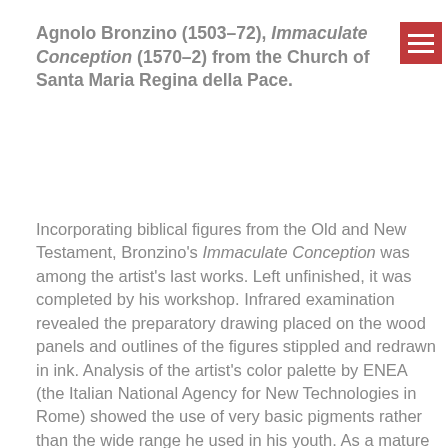Agnolo Bronzino (1503–72), Immaculate Conception (1570–2) from the Church of Santa Maria Regina della Pace.
Incorporating biblical figures from the Old and New Testament, Bronzino's Immaculate Conception was among the artist's last works. Left unfinished, it was completed by his workshop. Infrared examination revealed the preparatory drawing placed on the wood panels and outlines of the figures stippled and redrawn in ink. Analysis of the artist's color palette by ENEA (the Italian National Agency for New Technologies in Rome) showed the use of very basic pigments rather than the wide range he used in his youth. As a mature painter, Bronzino used modest pigments (azurite, for example, rather than costly lapis lazuli) to skillfully shape his forms. The restoration team preserved the freshness of the piece; the preparatory elements remain visible in some areas and robust brushstrokes are evident in others. This restoration project